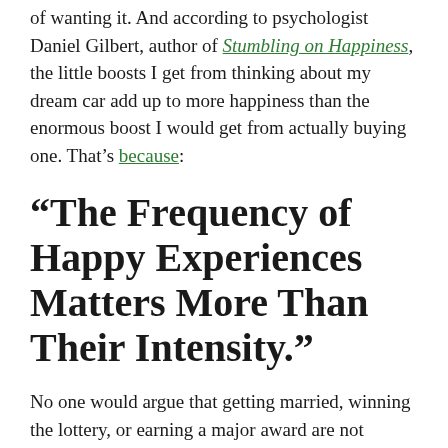of wanting it. And according to psychologist Daniel Gilbert, author of Stumbling on Happiness, the little boosts I get from thinking about my dream car add up to more happiness than the enormous boost I would get from actually buying one. That's because:
“The Frequency of Happy Experiences Matters More Than Their Intensity.”
No one would argue that getting married, winning the lottery, or earning a major award are not incredibly happy and desirable events.